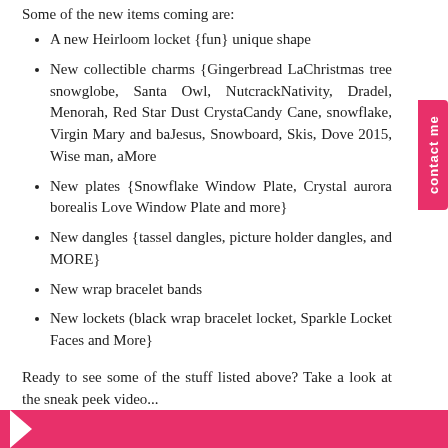Some of the new items coming are:
A new Heirloom locket {fun} unique shape
New collectible charms {Gingerbread La... Christmas tree snowglobe, Santa Owl, Nutcrack... Nativity, Dradel, Menorah, Red Star Dust Crysta... Candy Cane, snowflake, Virgin Mary and ba... Jesus, Snowboard, Skis, Dove 2015, Wise man, a... More
New plates {Snowflake Window Plate, Crystal aurora borealis Love Window Plate and more}
New dangles {tassel dangles, picture holder dangles, and MORE}
New wrap bracelet bands
New lockets (black wrap bracelet locket, Sparkle Locket Faces and More}
Ready to see some of the stuff listed above? Take a look at the sneak peek video...
[Figure (other): Pink banner with arrow chevron at bottom of page]